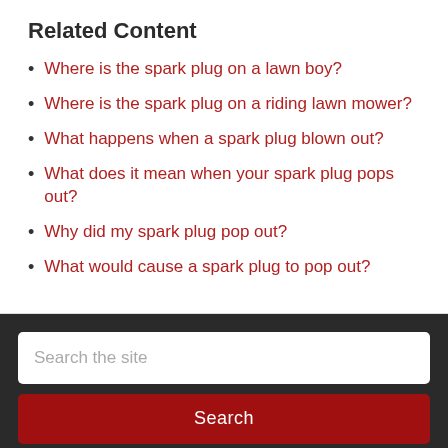Related Content
Where is the spark plug on a lawn boy?
Where is the spark plug on a riding lawn mower?
What happens when a spark plug blown out?
What does it mean when your spark plug pops out?
Why did my spark plug pop out?
What would cause a spark plug to pop out?
Search the site
Search